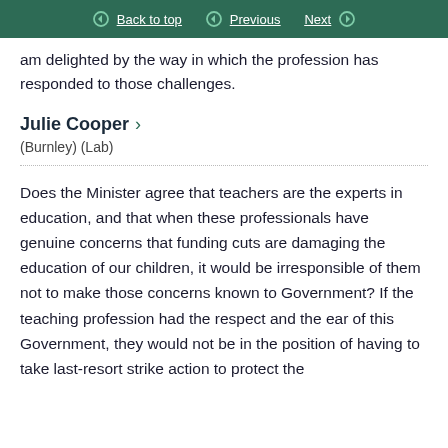Back to top  Previous  Next
am delighted by the way in which the profession has responded to those challenges.
Julie Cooper
(Burnley) (Lab)
Does the Minister agree that teachers are the experts in education, and that when these professionals have genuine concerns that funding cuts are damaging the education of our children, it would be irresponsible of them not to make those concerns known to Government? If the teaching profession had the respect and the ear of this Government, they would not be in the position of having to take last-resort strike action to protect the